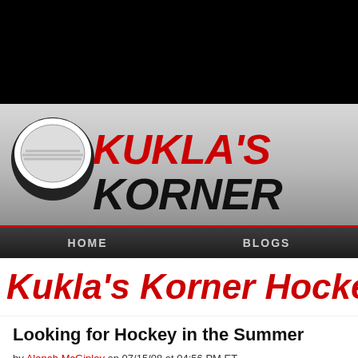[Figure (logo): Kukla's Korner hockey blog logo with a hockey puck graphic and stylized red and black text on a silver/gray gradient background]
HOME   BLOGS
Kukla's Korner Hockey
Looking for Hockey in the Summer
by Alanah McGinley on 07/15/08 at 04:56 PM ET
Comments (0)